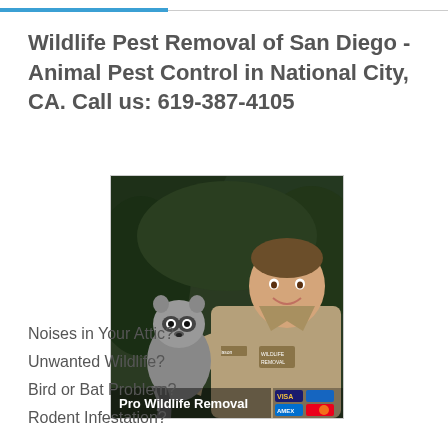Wildlife Pest Removal of San Diego - Animal Pest Control in National City, CA. Call us: 619-387-4105
[Figure (photo): A wildlife removal technician in khaki uniform holding a raccoon, with 'Pro Wildlife Removal' text overlay and credit card icons in the bottom right corner.]
Noises in Your Attic?
Unwanted Wildlife?
Bird or Bat Problem?
Rodent Infestation?